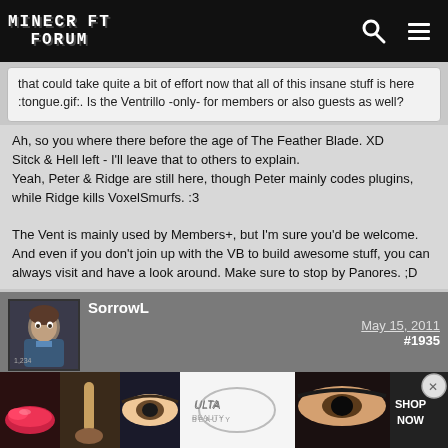Minecraft Forum
that could take quite a bit of effort now that all of this insane stuff is here :tongue.gif:. Is the Ventrillo -only- for members or also guests as well?
Ah, so you where there before the age of The Feather Blade. XD Sitck & Hell left - I'll leave that to others to explain.
Yeah, Peter & Ridge are still here, though Peter mainly codes plugins, while Ridge kills VoxelSmurfs. :3

The Vent is mainly used by Members+, but I'm sure you'd be welcome. And even if you don't join up with the VB to build awesome stuff, you can always visit and have a look around. Make sure to stop by Panores. ;D
SorrowL
May 15, 2011  #1935
[Figure (screenshot): ULTA beauty advertisement banner with lip makeup and eye makeup images and SHOP NOW text]